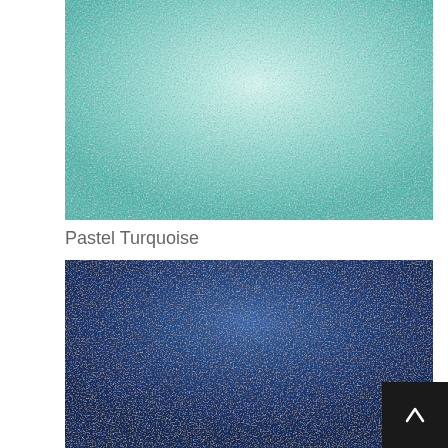[Figure (photo): Close-up photo of a pastel turquoise cylindrical object (paper roll or color swatch sample), cropped to show the curved surface with soft lighting]
Pastel Turquoise
[Figure (photo): Close-up photo of a dark navy blue cylindrical object (paper roll or color swatch sample), cropped to show the curved surface with soft lighting]
[Figure (illustration): Back to top button — black square with white upward arrow]